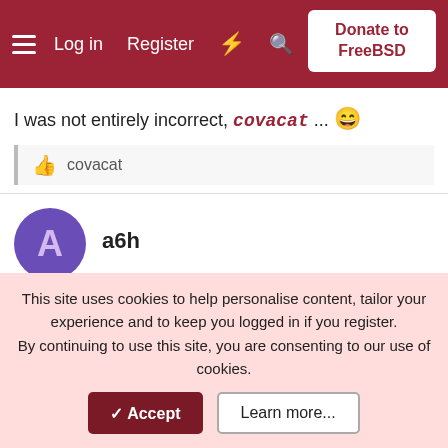Log in  Register  Donate to FreeBSD
I was not entirely incorrect, covacat ... 😄
👍 covacat
a6h
Dec 13, 2021  #64
Alain De Vos said: ↑
For numbers stored in other formats (variable length) its done somewhere between O(nlog(n)) & O(n^2)
O(n^2): time to multiply two digits of n numbers in a "simple way"
This site uses cookies to help personalise content, tailor your experience and to keep you logged in if you register.
By continuing to use this site, you are consenting to our use of cookies.
✓ Accept   Learn more...